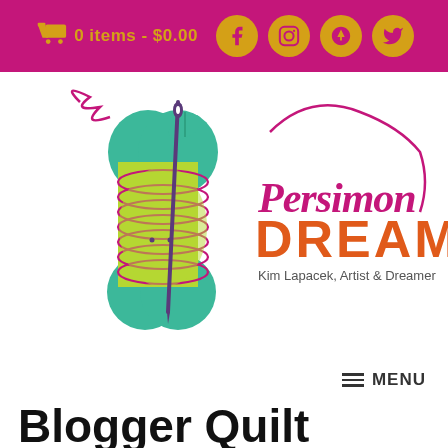0 items - $0.00 | Facebook | Instagram | Pinterest | Twitter
[Figure (logo): Persimon Dreams logo: a thread spool shaped like an apple core with a needle through it, with pink thread, alongside the text 'Persimon DREAMS - Kim Lapacek, Artist & Dreamer']
MENU
Blogger Quilt